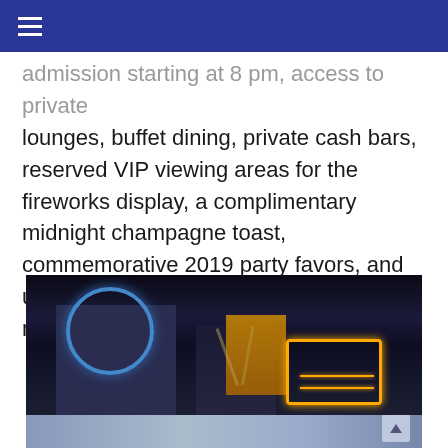admission starting at 8 pm, access to private lounges, buffet dining, private cash bars, reserved VIP viewing areas for the fireworks display, a complimentary midnight champagne toast, commemorative 2019 party favors, and unlimited Universal Express access to all rides and attractions.
[Figure (photo): Nighttime photo of a theme park (likely Universal Studios) showing an ornate building with blue lit circular wheel decoration on the left, an orange/yellow illuminated structure in the center, and a neon-lit sign frame on the right, against a dark night sky. The lower portion shows a lighter blue-toned image of park attractions at night.]